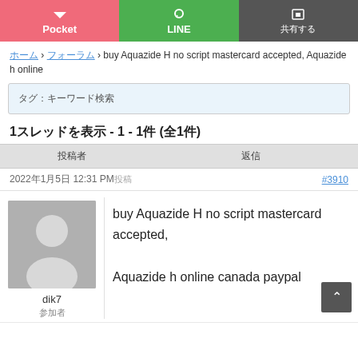[Figure (other): Top navigation buttons: Pocket (pink), LINE (green), share button (dark gray with Japanese text)]
[Japanese] › [Japanese] › buy Aquazide H no script mastercard accepted, Aquazide h online
[Japanese placeholder text - search/tag area]
1[Japanese] - 1 - 1[Japanese] ([Japanese]1[Japanese])
| [Japanese (author)] | [Japanese (views)] |
| --- | --- |
2022[Japanese]1[Japanese]5[Japanese] 12:31 PM[Japanese]
#3910
[Figure (photo): Default user avatar (gray silhouette)]
dik7
[Japanese role text]
buy Aquazide H no script mastercard accepted, Aquazide h online canada paypal